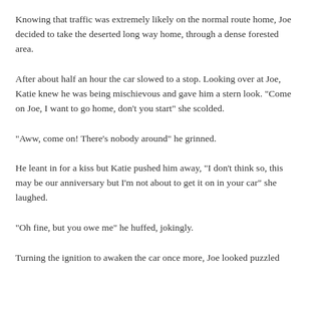Knowing that traffic was extremely likely on the normal route home, Joe decided to take the deserted long way home, through a dense forested area.
After about half an hour the car slowed to a stop. Looking over at Joe, Katie knew he was being mischievous and gave him a stern look. "Come on Joe, I want to go home, don't you start" she scolded.
"Aww, come on! There's nobody around" he grinned.
He leant in for a kiss but Katie pushed him away, "I don't think so, this may be our anniversary but I'm not about to get it on in your car" she laughed.
"Oh fine, but you owe me" he huffed, jokingly.
Turning the ignition to awaken the car once more, Joe looked puzzled